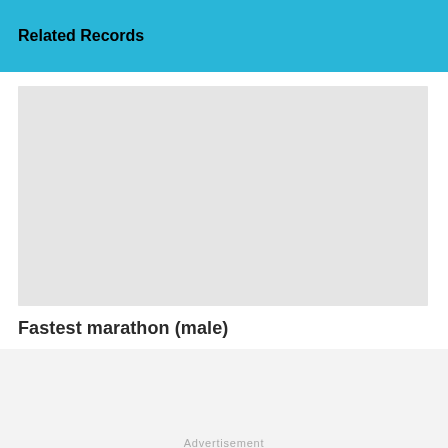Related Records
[Figure (photo): Gray placeholder image rectangle for a related record thumbnail]
Fastest marathon (male)
[Figure (other): Advertisement placeholder block with 'Advertisement' text label]
Advertisement
˅